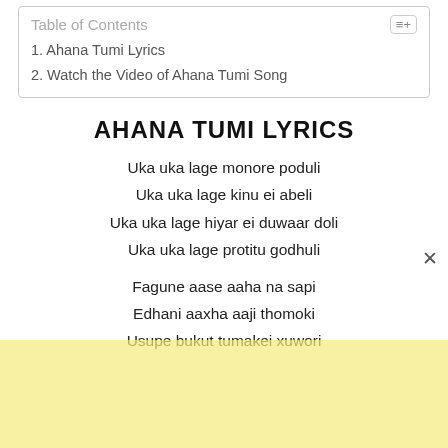Table of Contents
1. Ahana Tumi Lyrics
2. Watch the Video of Ahana Tumi Song
AHANA TUMI LYRICS
Uka uka lage monore poduli
Uka uka lage kinu ei abeli
Uka uka lage hiyar ei duwaar doli
Uka uka lage protitu godhuli
Fagune aase aaha na sapi
Edhani aaxha aaji thomoki
Usupe bukut tumakei xuwori
[Figure (other): Yellow advertisement banner at bottom of page]